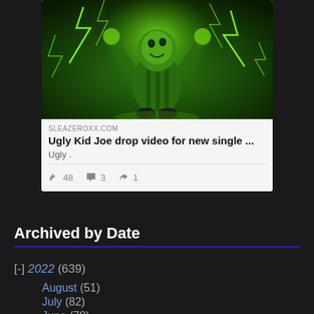[Figure (photo): Green glowing illustrated character with lightning effects on dark background]
SLEAZEROXX.COM
Ugly Kid Joe drop video for new single ...
Ugly .
48  3  1
Archived by Date
[-] 2022 (639)
August (51)
July (82)
June (78)
May (77)